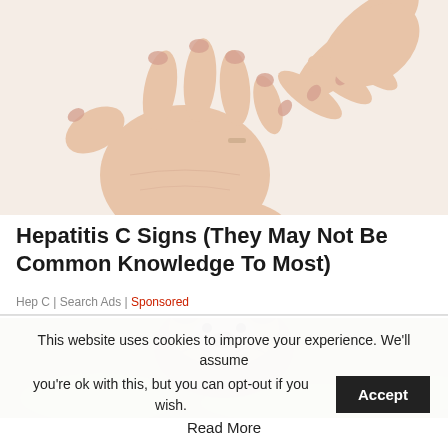[Figure (photo): Close-up of a hand being scratched at the wrist by another hand, on a white background — illustrating skin itching associated with Hepatitis C.]
Hepatitis C Signs (They May Not Be Common Knowledge To Most)
Hep C | Search Ads | Sponsored
[Figure (photo): Partial view of a brown bear or similar animal in green grass.]
This website uses cookies to improve your experience. We'll assume you're ok with this, but you can opt-out if you wish. Accept Read More